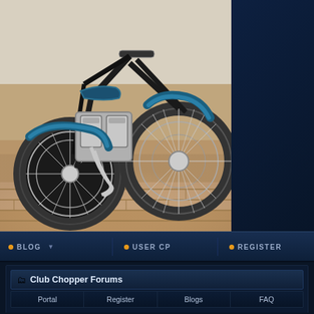[Figure (photo): Blue custom chopper motorcycle on brick/cobblestone surface, chrome engine and wheels, viewed from front-left angle]
[Figure (screenshot): Dark blue website navigation bar with BLOG, USER CP, REGISTER items with orange dot indicators]
Club Chopper Forums
Portal
Register
Blogs
FAQ
We... coo...